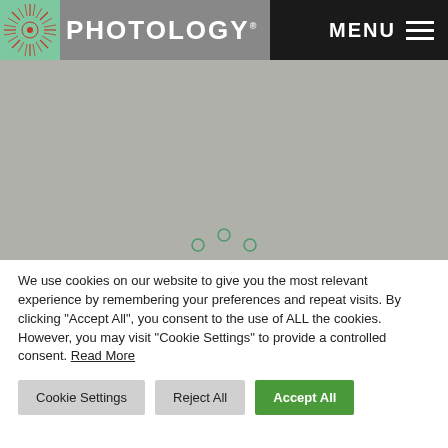[Figure (logo): Photology logo with starburst icon on grey background and white text reading PHOTOLOGY]
[Figure (screenshot): Grey hero image area with circular dot navigation indicators at bottom]
We use cookies on our website to give you the most relevant experience by remembering your preferences and repeat visits. By clicking “Accept All”, you consent to the use of ALL the cookies. However, you may visit "Cookie Settings" to provide a controlled consent. Read More
Cookie Settings | Reject All | Accept All